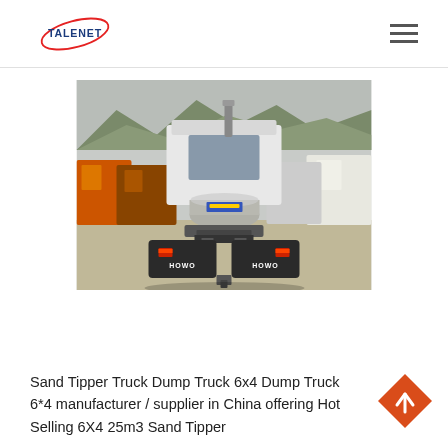TALENET [logo] [navigation menu]
[Figure (photo): Rear view of a HOWO heavy dump truck/tractor in a truck yard. Multiple orange, red, and white trucks visible in background with mountains and trees. The rear shows HOWO mudguards, red tail lights, fuel tank, and exhaust pipe visible from behind.]
Sand Tipper Truck Dump Truck 6x4 Dump Truck 6*4 manufacturer / supplier in China offering Hot Selling 6X4 25m3 Sand Tipper